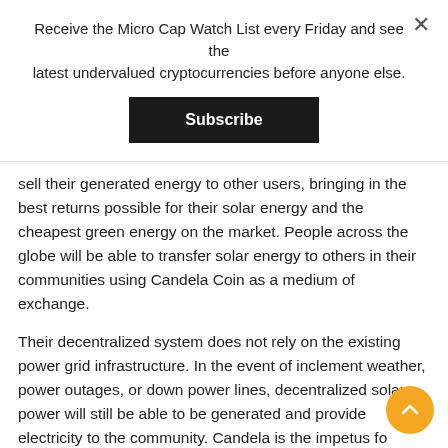Receive the Micro Cap Watch List every Friday and see the latest undervalued cryptocurrencies before anyone else.
Subscribe
sell their generated energy to other users, bringing in the best returns possible for their solar energy and the cheapest green energy on the market. People across the globe will be able to transfer solar energy to others in their communities using Candela Coin as a medium of exchange.
Their decentralized system does not rely on the existing power grid infrastructure. In the event of inclement weather, power outages, or down power lines, decentralized solar power will still be able to be generated and provide electricity to the community. Candela is the impetus for democratization of energy.